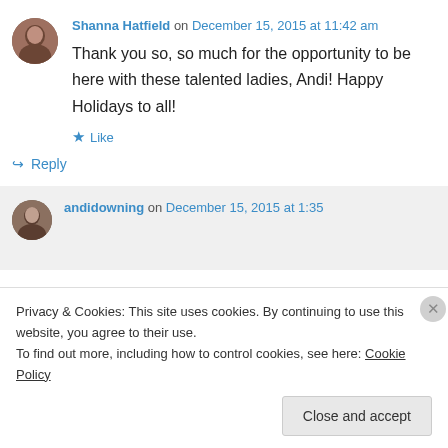Shanna Hatfield on December 15, 2015 at 11:42 am
Thank you so, so much for the opportunity to be here with these talented ladies, Andi! Happy Holidays to all!
Like
Reply
andidowning on December 15, 2015 at 1:35
Privacy & Cookies: This site uses cookies. By continuing to use this website, you agree to their use.
To find out more, including how to control cookies, see here: Cookie Policy
Close and accept